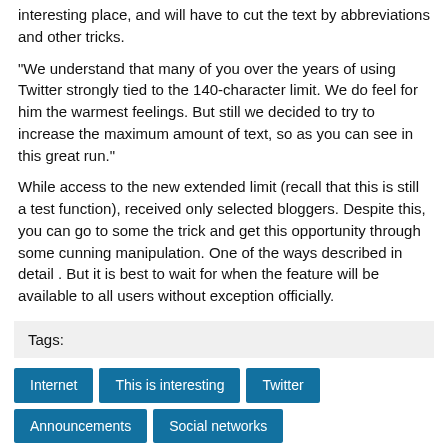interesting place, and will have to cut the text by abbreviations and other tricks.
"We understand that many of you over the years of using Twitter strongly tied to the 140-character limit. We do feel for him the warmest feelings. But still we decided to try to increase the maximum amount of text, so as you can see in this great run."
While access to the new extended limit (recall that this is still a test function), received only selected bloggers. Despite this, you can go to some the trick and get this opportunity through some cunning manipulation. One of the ways described in detail . But it is best to wait for when the feature will be available to all users without exception officially.
Tags:
Internet
This is interesting
Twitter
Announcements
Social networks